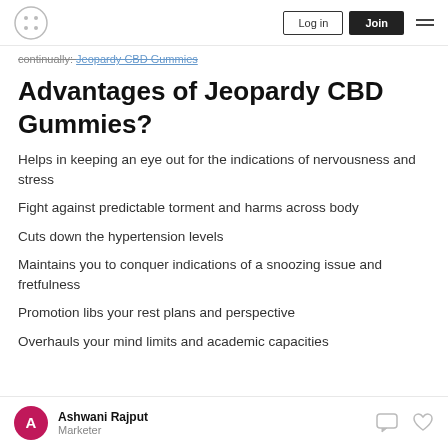Log in | Join
continually: Jeopardy CBD Gummies
Advantages of Jeopardy CBD Gummies?
Helps in keeping an eye out for the indications of nervousness and stress
Fight against predictable torment and harms across body
Cuts down the hypertension levels
Maintains you to conquer indications of a snoozing issue and fretfulness
Promotion libs your rest plans and perspective
Overhauls your mind limits and academic capacities
Ashwani Rajput — Marketer